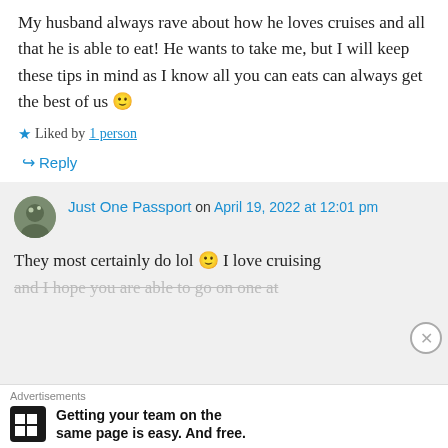My husband always rave about how he loves cruises and all that he is able to eat! He wants to take me, but I will keep these tips in mind as I know all you can eats can always get the best of us 🙂
★ Liked by 1 person
↪ Reply
Just One Passport on April 19, 2022 at 12:01 pm
They most certainly do lol 🙂 I love cruising and I hope you are able to go on one at
Advertisements
Getting your team on the same page is easy. And free.